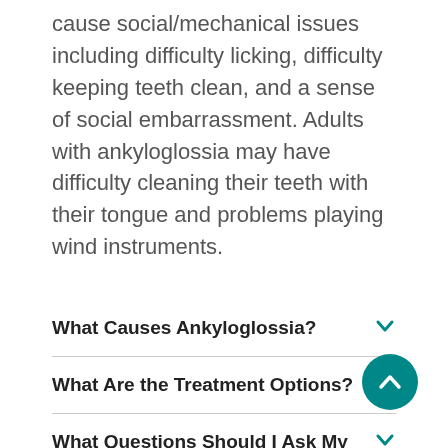cause social/mechanical issues including difficulty licking, difficulty keeping teeth clean, and a sense of social embarrassment. Adults with ankyloglossia may have difficulty cleaning their teeth with their tongue and problems playing wind instruments.
What Causes Ankyloglossia?
What Are the Treatment Options?
What Questions Should I Ask My